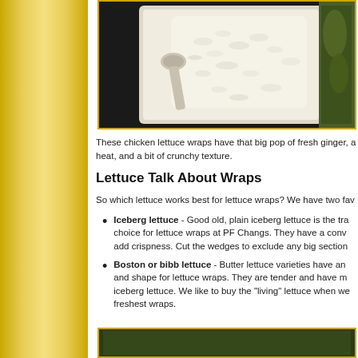[Figure (photo): Photo of a white plate with white rice and a spoon, with some cooked greens visible on the right side, on a dark background.]
These chicken lettuce wraps have that big pop of fresh ginger, a heat, and a bit of crunchy texture.
Lettuce Talk About Wraps
So which lettuce works best for lettuce wraps? We have two fav
Iceberg lettuce - Good old, plain iceberg lettuce is the tra choice for lettuce wraps at PF Changs. They have a conv add crispness. Cut the wedges to exclude any big section
Boston or bibb lettuce - Butter lettuce varieties have an and shape for lettuce wraps. They are tender and have m iceberg lettuce. We like to buy the "living" lettuce when we freshest wraps.
[Figure (photo): Partial view of another food photo at the bottom of the page.]